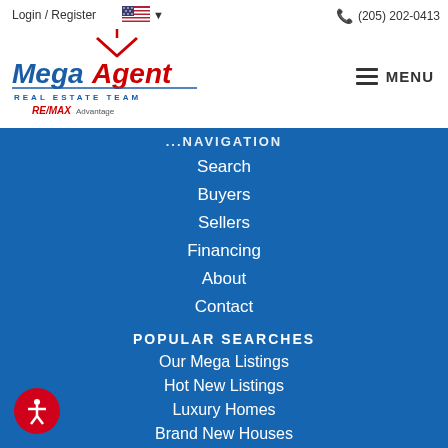Login / Register  (205) 202-0413
[Figure (logo): Mega Agent Real Estate Team RE/MAX Advantage logo with house roof icon]
NAVIGATION
Search
Buyers
Sellers
Financing
About
Contact
POPULAR SEARCHES
Our Mega Listings
Hot New Listings
Luxury Homes
Brand New Houses